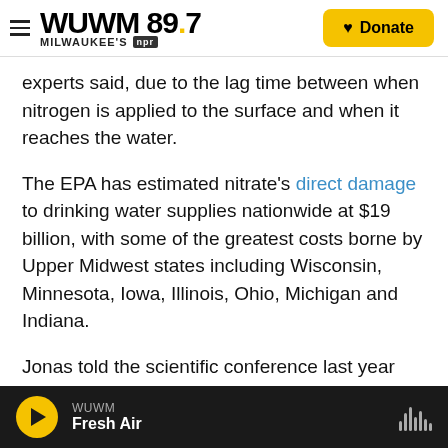WUWM 89.7 MILWAUKEE'S NPR — Donate
experts said, due to the lag time between when nitrogen is applied to the surface and when it reaches the water.
The EPA has estimated nitrate's direct damage to drinking water supplies nationwide at $19 billion, with some of the greatest costs borne by Upper Midwest states including Wisconsin, Minnesota, Iowa, Illinois, Ohio, Michigan and Indiana.
Jonas told the scientific conference last year that the costs of testing and treatment to remove nitrate pollution are growing statewide, "and it
WUWM — Fresh Air